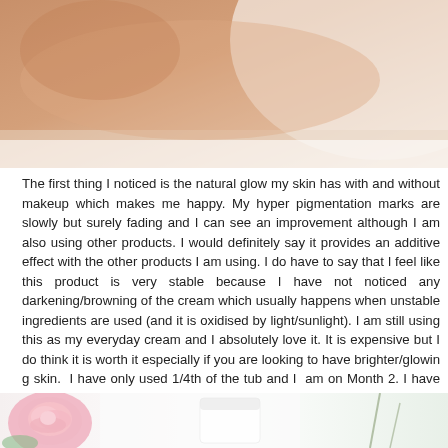[Figure (photo): Close-up photo of human skin, warm beige/tan tone, cropped at top of page]
The first thing I noticed is the natural glow my skin has with and without makeup which makes me happy. My hyper pigmentation marks are slowly but surely fading and I can see an improvement although I am also using other products. I would definitely say it provides an additive effect with the other products I am using. I do have to say that I feel like this product is very stable because I have not noticed any darkening/browning of the cream which usually happens when unstable ingredients are used (and it is oxidised by light/sunlight). I am still using this as my everyday cream and I absolutely love it. It is expensive but I do think it is worth it especially if you are looking to have brighter/glowing skin. I have only used 1/4th of the tub and I am on Month 2. I have used this cream since I got it in January and it has really helped my skin and it is the only Vitamin C product that I have tried for the longest time in a row.
[Figure (photo): Photo showing a pink rose and what appears to be a white cream or cosmetic product container, partially visible at bottom of page]